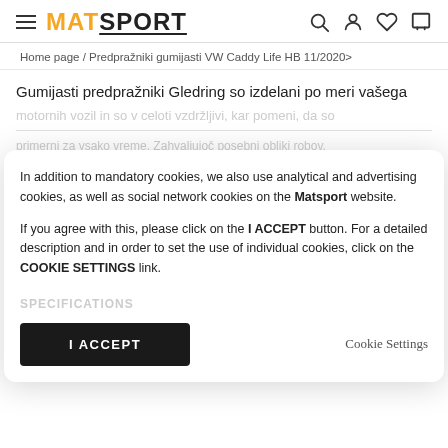MATSPORT
Home page / Predpražniki gumijasti VW Caddy Life HB 11/2020>
Gumijasti predpražniki Gledring so izdelani po meri vašega
In addition to mandatory cookies, we also use analytical and advertising cookies, as well as social network cookies on the Matsport website.

If you agree with this, please click on the I ACCEPT button. For a detailed description and in order to set the use of individual cookies, click on the COOKIE SETTINGS link.
I ACCEPT
Cookie Settings